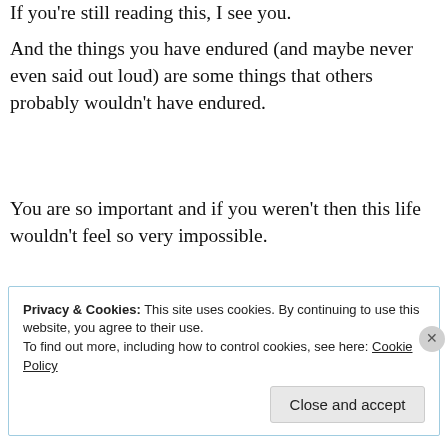If you're still reading this, I see you.
And the things you have endured (and maybe never even said out loud) are some things that others probably wouldn't have endured.
You are so important and if you weren't then this life wouldn't feel so very impossible.
The enemy is SO AFRAID of what you can become in Jesus.
Privacy & Cookies: This site uses cookies. By continuing to use this website, you agree to their use.
To find out more, including how to control cookies, see here: Cookie Policy
Close and accept